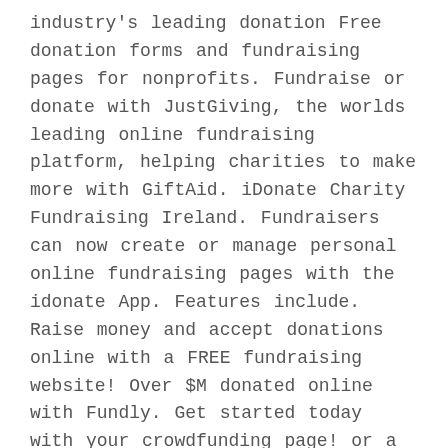industry's leading donation Free donation forms and fundraising pages for nonprofits. Fundraise or donate with JustGiving, the worlds leading online fundraising platform, helping charities to make more with GiftAid. iDonate Charity Fundraising Ireland. Fundraisers can now create or manage personal online fundraising pages with the idonate App. Features include. Raise money and accept donations online with a FREE fundraising website! Over $M donated online with Fundly. Get started today with your crowdfunding page! or a Donation Form onto your website to encourage your supporters to support your campaign. Next. Trending Campaigns. Duane Moore Benefit Fund. $3, 21% Buckeye, AZ Memorials. Online Fundraising Software for Nonprofits. The most complete and effective set of web marketing, online fundraising solutions available. More than 5, nonprofits using Blackbaud's solutions have made